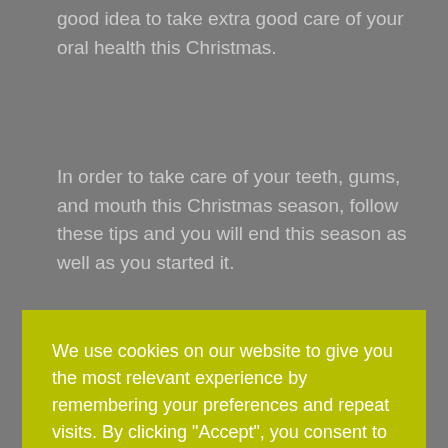good idea to take extra good care of your oral health this Christmas.
In order to take care of your teeth, gums, and mouth this Christmas season, follow these tips and you will end this season as well as you started it.
We use cookies on our website to give you the most relevant experience by remembering your preferences and repeat visits. By clicking “Accept”, you consent to the use of ALL the cookies. However you may visit Cookie Settings to provide a controlled consent.
Cookie settings
ACCEPT
2. You can eat good foods this season and still take care of your teeth.
Food like cranberries and cheese are actually good for your teeth, in moderation! But, cranberries can also contain a lot of acid which can eat away at your